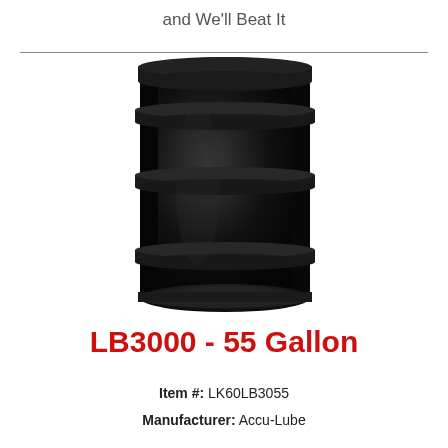and We'll Beat It
[Figure (photo): A black 55-gallon steel drum container photographed against a white background.]
LB3000 - 55 Gallon
Item #: LK60LB3055
Manufacturer: Accu-Lube